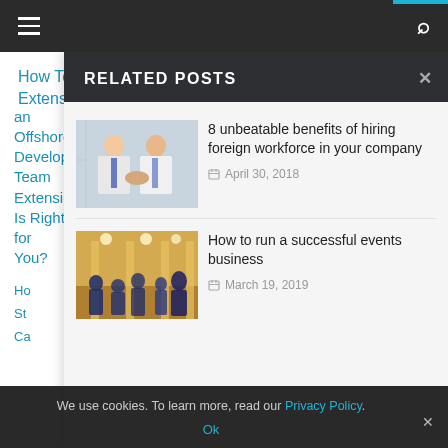Navigation bar with hamburger menu and search icon
How To Know if an Offshore Development Team Extension Is Right for You?
Ho...
St...
Ca...
RELATED POSTS
[Figure (photo): Two businessmen in white shirts and ties shaking hands]
8 unbeatable benefits of hiring foreign workforce in your company
April 30, 2018
[Figure (photo): Group of business people in a lobby/atrium setting]
How to run a successful events business
March 19, 2019
We use cookies. To learn more, read our Privacy Policy.
Ok